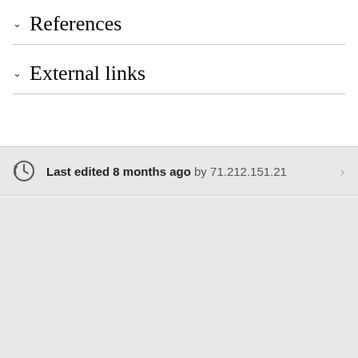References
External links
Last edited 8 months ago by 71.212.151.21